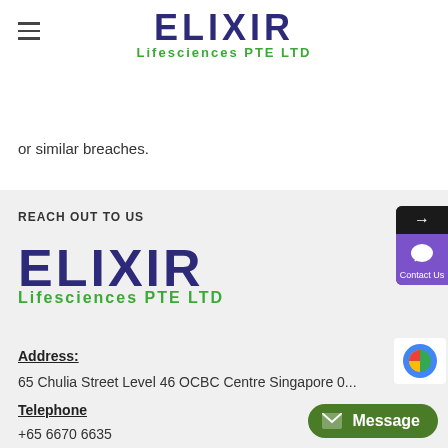[Figure (logo): Elixir Lifesciences PTE LTD logo in page header — ELIXIR in large dark blue bold letters, Lifesciences PTE LTD in green below]
or similar breaches.
REACH OUT TO US
[Figure (logo): Elixir Lifesciences PTE LTD logo in footer section — large ELIXIR in dark blue, Lifesciences PTE LTD in green]
Address:
65 Chulia Street Level 46 OCBC Centre Singapore 0...
Telephone
+65 6670 6635